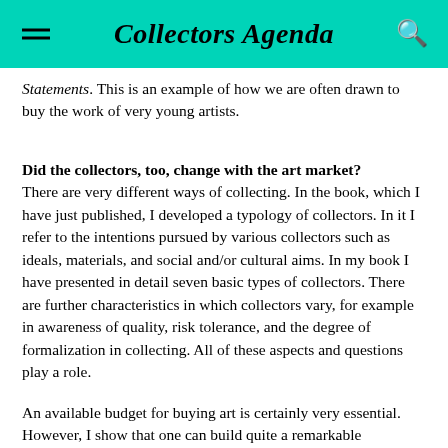Collectors Agenda
Statements. This is an example of how we are often drawn to buy the work of very young artists.
Did the collectors, too, change with the art market?
There are very different ways of collecting. In the book, which I have just published, I developed a typology of collectors. In it I refer to the intentions pursued by various collectors such as ideals, materials, and social and/or cultural aims. In my book I have presented in detail seven basic types of collectors. There are further characteristics in which collectors vary, for example in awareness of quality, risk tolerance, and the degree of formalization in collecting. All of these aspects and questions play a role.
An available budget for buying art is certainly very essential. However, I show that one can build quite a remarkable collection even with a relative small budget. A high risk tolerance is necessary when purchasing young, new positions. In any case, it is very important to set a focus in a collection. I try to show young aspiring collectors that they can certainly begin collecting even with a modest budget.
One develops as a collector. In the course of time, the goals are